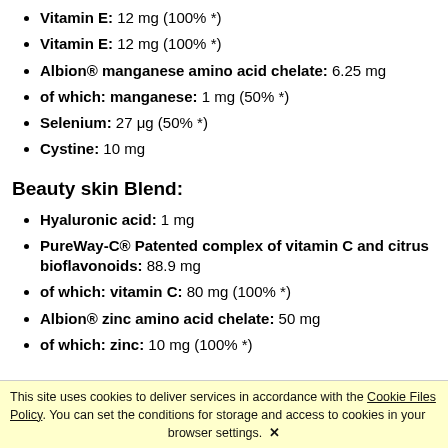Vitamin E: 12 mg (100% *)
Albion® manganese amino acid chelate: 6.25 mg
of which: manganese: 1 mg (50% *)
Selenium: 27 μg (50% *)
Cystine: 10 mg
Beauty skin Blend:
Hyaluronic acid: 1 mg
PureWay-C® Patented complex of vitamin C and citrus bioflavonoids: 88.9 mg
of which: vitamin C: 80 mg (100% *)
Albion® zinc amino acid chelate: 50 mg
of which: zinc: 10 mg (100% *)
This site uses cookies to deliver services in accordance with the Cookie Files Policy. You can set the conditions for storage and access to cookies in your browser settings. ✕